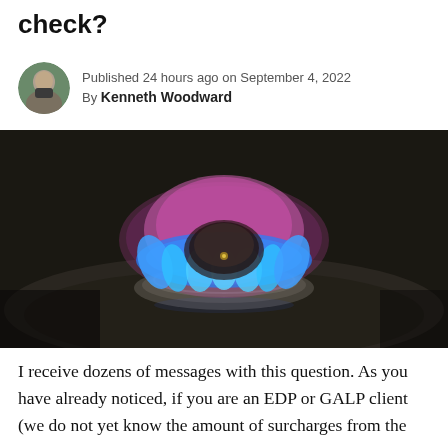check?
Published 24 hours ago on September 4, 2022
By Kenneth Woodward
[Figure (photo): Close-up photograph of a gas stove burner with blue and purple flame burning on a dark metallic surface]
I receive dozens of messages with this question. As you have already noticed, if you are an EDP or GALP client (we do not yet know the amount of surcharges from the